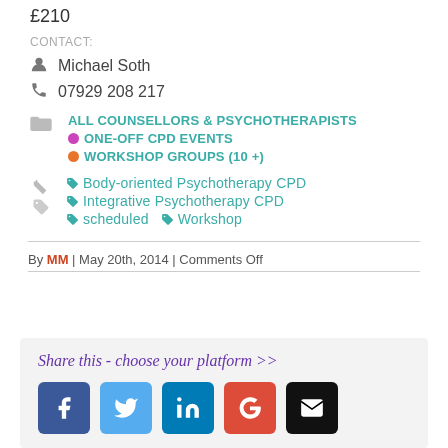£210
CONTACT:
Michael Soth
07929 208 217
ALL COUNSELLORS & PSYCHOTHERAPISTS
ONE-OFF CPD EVENTS
WORKSHOP GROUPS (10 +)
Body-oriented Psychotherapy CPD
Integrative Psychotherapy CPD
scheduled
Workshop
By MM | May 20th, 2014 | Comments Off
Share this - choose your platform >>